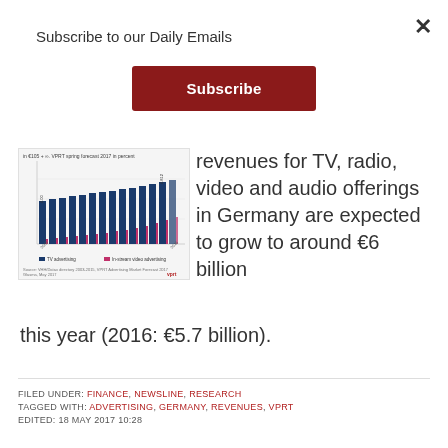Subscribe to our Daily Emails
Subscribe
[Figure (bar-chart): Bar chart showing TV advertising and in-stream video advertising revenues, VPRT spring forecast 2017 in percent, years from approximately 2003 to 2017]
revenues for TV, radio, video and audio offerings in Germany are expected to grow to around €6 billion this year (2016: €5.7 billion).
FILED UNDER: FINANCE, NEWSLINE, RESEARCH
TAGGED WITH: ADVERTISING, GERMANY, REVENUES, VPRT
EDITED: 18 MAY 2017 10:28